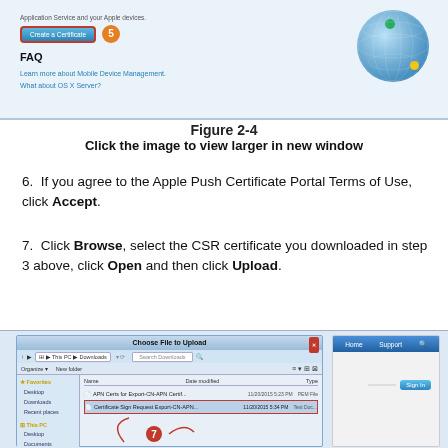[Figure (screenshot): Top screenshot showing Apple Push Certificate Portal with 'Create a Certificate' button highlighted with red border, a circled number 5, FAQ section with links, and a globe graphic.]
Figure 2-4
Click the image to view larger in new window
6. If you agree to the Apple Push Certificate Portal Terms of Use, click Accept.
7. Click Browse, select the CSR certificate you downloaded in step 3 above, click Open and then click Upload.
[Figure (screenshot): Bottom screenshot showing Windows 'Choose File to Upload' dialog with Downloads folder open, CSR certificate file selected with red border, arrow pointing to file with circled number 7, and Apple portal sign-in panel on the right.]